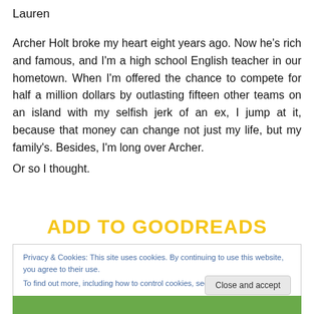Lauren
Archer Holt broke my heart eight years ago. Now he's rich and famous, and I'm a high school English teacher in our hometown. When I'm offered the chance to compete for half a million dollars by outlasting fifteen other teams on an island with my selfish jerk of an ex, I jump at it, because that money can change not just my life, but my family's. Besides, I'm long over Archer.
Or so I thought.
ADD TO GOODREADS
Privacy & Cookies: This site uses cookies. By continuing to use this website, you agree to their use.
To find out more, including how to control cookies, see here: Cookie Policy
Close and accept
[Figure (photo): Bottom portion of a book cover image showing two people, partially visible, with a green/outdoor background.]